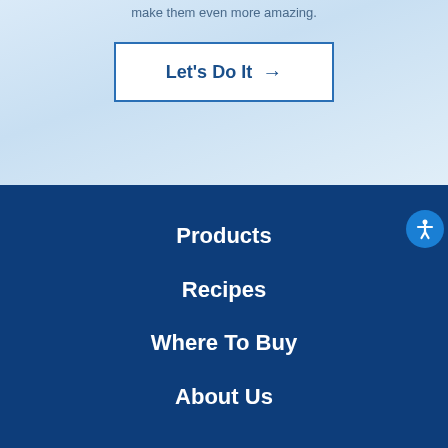make them even more amazing.
Let's Do It →
Products
Recipes
Where To Buy
About Us